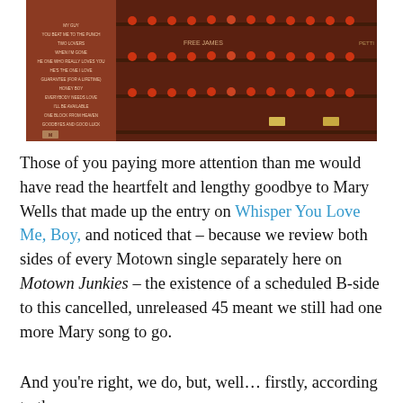[Figure (photo): Photo of wine bottles on wooden shelving racks in a cellar, with a lighter-toned section on the left showing a track listing (album back cover) with song titles including MY GUY, YOU BEAT ME TO THE PUNCH, TWO LOVERS, WHEN I'M GONE, HE ONE WHO REALLY LOVES YOU, HE'S THE ONE I LOVE, GUARANTEE (FOR A LIFETIME), HONEY BOY, EVERYBODY NEEDS LOVE, I'LL BE AVAILABLE, ONE BLOCK FROM HEAVEN, GOODBYES AND GOOD LUCK, and an M Motown logo.]
Those of you paying more attention than me would have read the heartfelt and lengthy goodbye to Mary Wells that made up the entry on Whisper You Love Me, Boy, and noticed that – because we review both sides of every Motown single separately here on Motown Junkies – the existence of a scheduled B-side to this cancelled, unreleased 45 meant we still had one more Mary song to go.
And you're right, we do, but, well… firstly, according to the